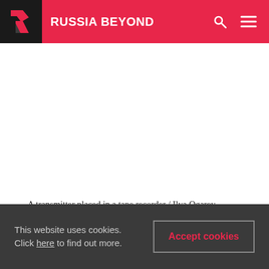RUSSIA BEYOND
A transmitter placed in a tape recorder / Ilya Ogarev
Often foreign reconnaissance specialists placed radio transmitters in tape recorders that helped them to communicate with their agents on Soviet territory.
This website uses cookies. Click here to find out more.